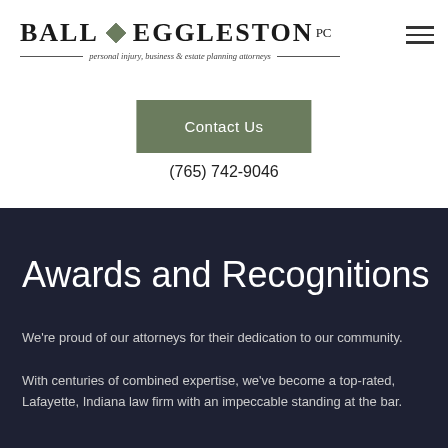[Figure (logo): Ball Eggleston PC law firm logo with diamond icon and tagline 'personal injury, business & estate planning attorneys']
Contact Us
(765) 742-9046
Awards and Recognitions
We're proud of our attorneys for their dedication to our community.
With centuries of combined expertise, we've become a top-rated, Lafayette, Indiana law firm with an impeccable standing at the bar.